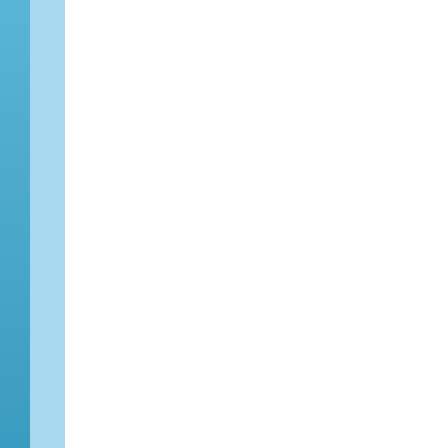[Figure (photo): Album/show promotional poster for 'Fascinating Aida - Cheap Flights'. Shows three women posed with vintage suitcases against a snowy backdrop. Title text 'FASCINATING AIDA' at top and 'CHEAP FLIGHTS' on a banner. Review stars and badges visible at bottom.]
humour. Whilst politicians come and go, that notwithstanding the intellect, the hits of the night were for a filthy song... Schemes ( the initials, geddit?) a... ( google it). Clearly, however tal... what the fans crave. Is this a re...